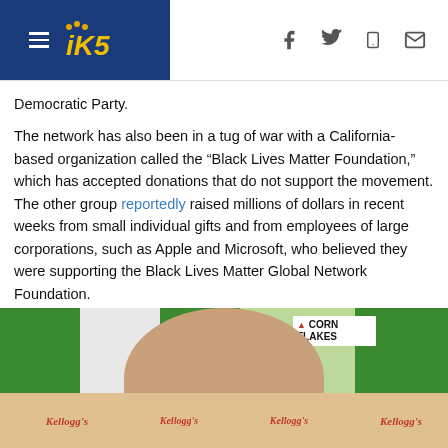KING5 NBC Seattle navigation header with hamburger menu, logo, and social icons (Facebook, Twitter, mobile, email)
Democratic Party.
The network has also been in a tug of war with a California-based organization called the “Black Lives Matter Foundation,” which has accepted donations that do not support the movement. The other group reportedly raised millions of dollars in recent weeks from small individual gifts and from employees of large corporations, such as Apple and Microsoft, who believed they were supporting the Black Lives Matter Global Network Foundation.
Taboola Feed
[Figure (photo): Advertisement photo showing an elderly man smiling in front of Kellogg's Corn Flakes cereal boxes in a store aisle]